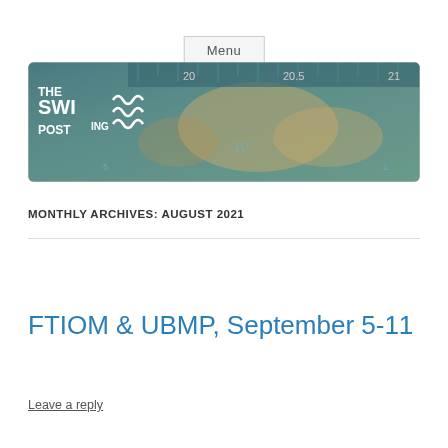Menu
[Figure (illustration): The Swinging Post blog banner with map and dial/ruler overlay, showing text THE SWINGING POST with stylized wave logo]
MONTHLY ARCHIVES: AUGUST 2021
FTIOM & UBMP, September 5-11
Leave a reply